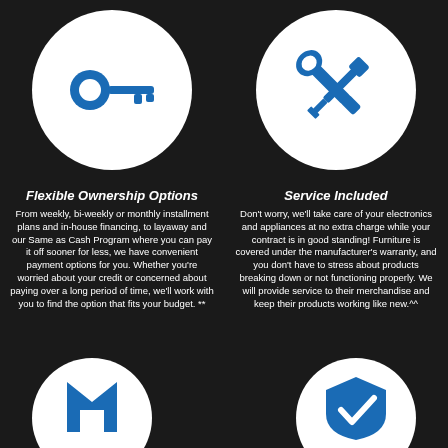[Figure (infographic): White circle with blue key icon representing Flexible Ownership Options]
[Figure (infographic): White circle with blue screwdriver and wrench crossed icon representing Service Included]
Flexible Ownership Options
Service Included
From weekly, bi-weekly or monthly installment plans and in-house financing, to layaway and our Same as Cash Program where you can pay it off sooner for less, we have convenient payment options for you. Whether you're worried about your credit or concerned about paying over a long period of time, we'll work with you to find the option that fits your budget. **
Don't worry, we'll take care of your electronics and appliances at no extra charge while your contract is in good standing! Furniture is covered under the manufacturer's warranty, and you don't have to stress about products breaking down or not functioning properly. We will provide service to their merchandise and keep their products working like new.^^
[Figure (infographic): White circle partially visible at bottom left with blue icon]
[Figure (infographic): White circle partially visible at bottom right with blue icon]